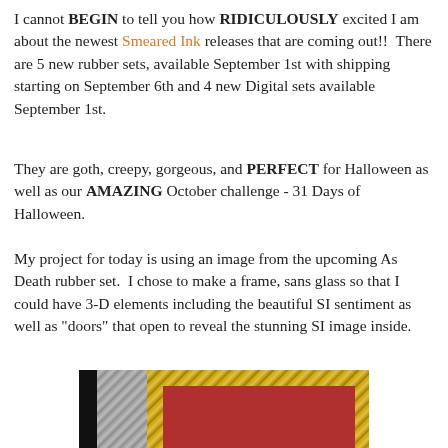I cannot BEGIN to tell you how RIDICULOUSLY excited I am about the newest Smeared Ink releases that are coming out!!  There are 5 new rubber sets, available September 1st with shipping starting on September 6th and 4 new Digital sets available September 1st.
They are goth, creepy, gorgeous, and PERFECT for Halloween as well as our AMAZING October challenge - 31 Days of Halloween.
My project for today is using an image from the upcoming As Death rubber set.  I chose to make a frame, sans glass so that I could have 3-D elements including the beautiful SI sentiment as well as "doors" that open to reveal the stunning SI image inside.
[Figure (photo): A decorative framed craft project with an ornate gold and silver frame, red background interior, a playing card with a bird/joker image, dark lettering, and a hinge visible on the right side.]